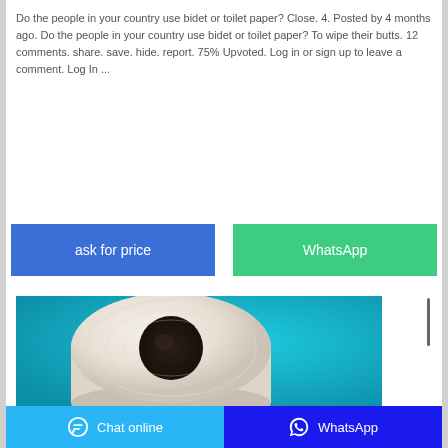Do the people in your country use bidet or toilet paper? Close. 4. Posted by 4 months ago. Do the people in your country use bidet or toilet paper? To wipe their butts. 12 comments. share. save. hide. report. 75% Upvoted. Log in or sign up to leave a comment. Log In ...
[Figure (other): Two buttons: blue 'ask for price' button and green 'WhatsApp' button]
[Figure (photo): A roll of toilet paper on a blue/teal background]
Chat online   WhatsApp